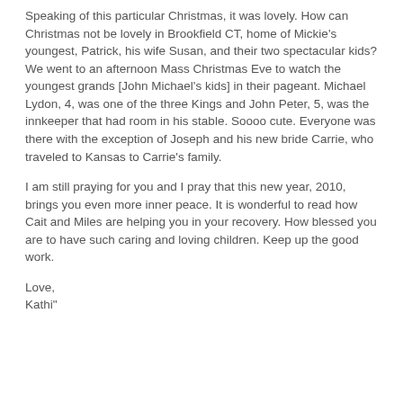Speaking of this particular Christmas, it was lovely. How can Christmas not be lovely in Brookfield CT, home of Mickie's youngest, Patrick, his wife Susan, and their two spectacular kids? We went to an afternoon Mass Christmas Eve to watch the youngest grands [John Michael's kids] in their pageant. Michael Lydon, 4, was one of the three Kings and John Peter, 5, was the innkeeper that had room in his stable. Soooo cute. Everyone was there with the exception of Joseph and his new bride Carrie, who traveled to Kansas to Carrie's family.
I am still praying for you and I pray that this new year, 2010, brings you even more inner peace. It is wonderful to read how Cait and Miles are helping you in your recovery. How blessed you are to have such caring and loving children. Keep up the good work.
Love,
Kathi"